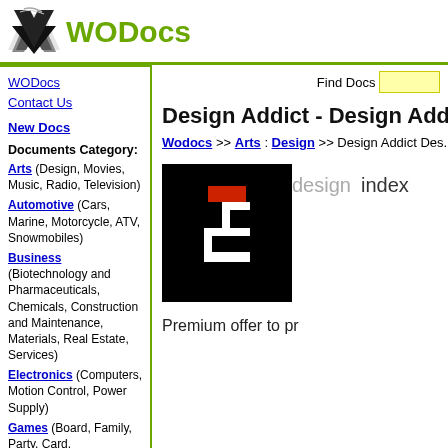[Figure (logo): WODocs logo with checkmark icon and green WODocs text]
Find Docs [search box]
Design Addict - Design Addict ad...
Wodocs >> Arts : Design >> Design Addict Des...
WODocs
Contact Us
New Docs
Documents Category:
Arts (Design, Movies, Music, Radio, Television)
Automotive (Cars, Marine, Motorcycle, ATV, Snowmobiles)
Business (Biotechnology and Pharmaceuticals, Chemicals, Construction and Maintenance, Materials, Real Estate, Services)
Electronics (Computers, Motion Control, Power Supply)
Games (Board, Family, Party, Card, Construction, RC Toys)
Health (Animalm, Beauty, Healthcare, Medicine, Pharmacy, Surgery, Weight Loss)
Home (Accessories,
[Figure (logo): Design Addict logo: black square with white geometric shape and red rectangle]
design    index
Premium offer to pr